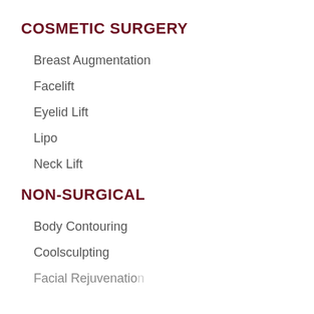COSMETIC SURGERY
Breast Augmentation
Facelift
Eyelid Lift
Lipo
Neck Lift
NON-SURGICAL
Body Contouring
Coolsculpting
Facial Rejuvenation